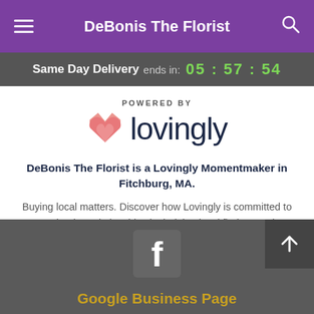DeBonis The Florist
Same Day Delivery ends in: 05 : 57 : 54
[Figure (logo): Lovingly logo with heart icon and text 'POWERED BY lovingly']
DeBonis The Florist is a Lovingly Momentmaker in Fitchburg, MA.
Buying local matters. Discover how Lovingly is committed to strengthening relationships by helping local florists market, sell, and deliver their floral designs online.
[Figure (logo): Facebook icon logo in gray square]
Google Business Page